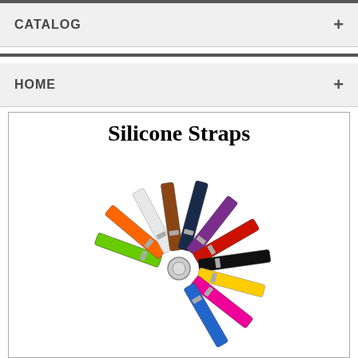CATALOG
HOME
Silicone Straps
[Figure (photo): A fan arrangement of colorful silicone watch straps in multiple colors including green, orange, white, brown, dark navy, purple, red, black, yellow, pink, and blue, fanned out in a circular pattern.]